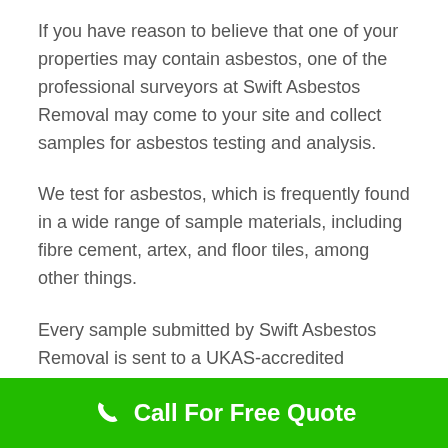If you have reason to believe that one of your properties may contain asbestos, one of the professional surveyors at Swift Asbestos Removal may come to your site and collect samples for asbestos testing and analysis.
We test for asbestos, which is frequently found in a wide range of sample materials, including fibre cement, artex, and floor tiles, among other things.
Every sample submitted by Swift Asbestos Removal is sent to a UKAS-accredited laboratory, where it is tested and evaluated to the highest
Call For Free Quote